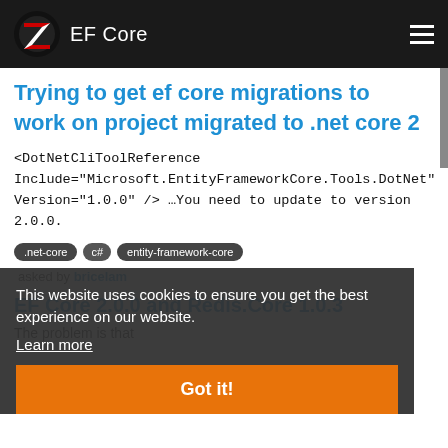EF Core
Trying to get ef core migrations to work on project migrated to .net core 2
<DotNetCliToolReference Include="Microsoft.EntityFrameworkCore.Tools.DotNet" Version="1.0.0" /> …You need to update to version 2.0.0.
.net-core
c#
entity-framework-core
This website uses cookies to ensure you get the best experience on our website.
Learn more
Got it!
asked by bricelam
EF Core 2.0.0 and Redis.Core 1.0.3
The problem is that